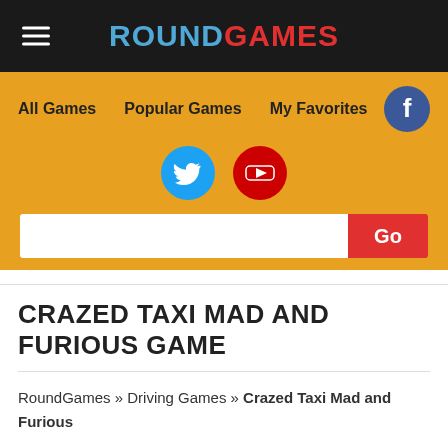ROUNDGAMES
CRAZED TAXI MAD AND FURIOUS GAME
RoundGames » Driving Games » Crazed Taxi Mad and Furious
Driving Games   March 8, 2019